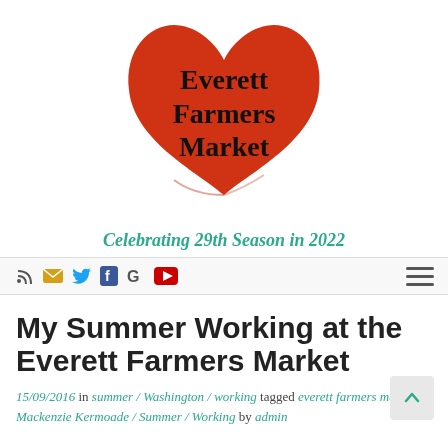[Figure (logo): Everett Farmers Market logo: red heart shape with text 'Everett Farmers Market' overlaid in bold serif font]
Everett Farmers Market
Celebrating 29th Season in 2022
[Figure (infographic): Navigation bar with social media icons: RSS, email, Twitter, Facebook, Google, YouTube, and a hamburger menu icon on the right]
My Summer Working at the Everett Farmers Market
15/09/2016 in summer / Washington / working tagged everett farmers market / Mackenzie Kermoade / Summer / Working by admin